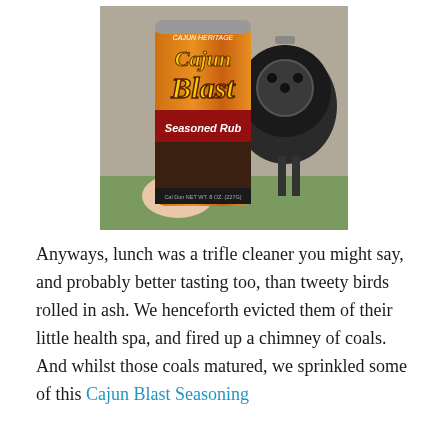[Figure (photo): A hand holding a can of Cajun Blast Seasoned Rub (8 oz) with a black Weber kettle grill visible in the background on a concrete surface.]
Anyways, lunch was a trifle cleaner you might say, and probably better tasting too, than tweety birds rolled in ash. We henceforth evicted them of their little health spa, and fired up a chimney of coals. And whilst those coals matured, we sprinkled some of this Cajun Blast Seasoning